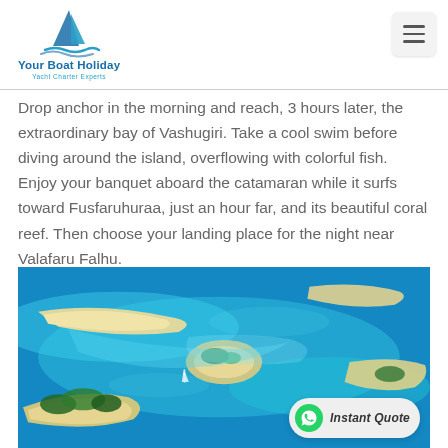Your Boat Holiday – Yacht Charter Experts
Drop anchor in the morning and reach, 3 hours later, the extraordinary bay of Vashugiri. Take a cool swim before diving around the island, overflowing with colorful fish. Enjoy your banquet aboard the catamaran while it surfs toward Fusfaruhuraa, just an hour far, and its beautiful coral reef. Then choose your landing place for the night near Valafaru Falhu.
[Figure (photo): Aerial photograph of tropical Maldivian atolls and sandbanks surrounded by turquoise blue ocean water, showing several small sandy islands with vegetation, shallow reefs, and a small sailboat visible in the water.]